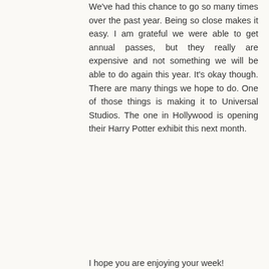We've had this chance to go so many times over the past year. Being so close makes it easy. I am grateful we were able to get annual passes, but they really are expensive and not something we will be able to do again this year. It's okay though. There are many things we hope to do. One of those things is making it to Universal Studios. The one in Hollywood is opening their Harry Potter exhibit this next month.
I hope you are enjoying your week!
Reply
Enter Comment
Thank you for taking the time to visit Musings of a Bookish Kitty. Don't be shy! I would love to hear from you. Due to a recent increase in spam, I will be moderating all comments for the foreseeable